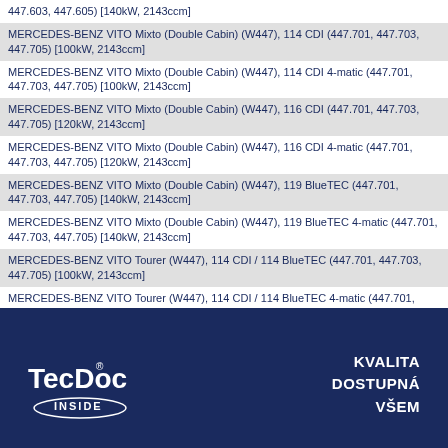447.603, 447.605) [140kW, 2143ccm]
MERCEDES-BENZ VITO Mixto (Double Cabin) (W447), 114 CDI (447.701, 447.703, 447.705) [100kW, 2143ccm]
MERCEDES-BENZ VITO Mixto (Double Cabin) (W447), 114 CDI 4-matic (447.701, 447.703, 447.705) [100kW, 2143ccm]
MERCEDES-BENZ VITO Mixto (Double Cabin) (W447), 116 CDI (447.701, 447.703, 447.705) [120kW, 2143ccm]
MERCEDES-BENZ VITO Mixto (Double Cabin) (W447), 116 CDI 4-matic (447.701, 447.703, 447.705) [120kW, 2143ccm]
MERCEDES-BENZ VITO Mixto (Double Cabin) (W447), 119 BlueTEC (447.701, 447.703, 447.705) [140kW, 2143ccm]
MERCEDES-BENZ VITO Mixto (Double Cabin) (W447), 119 BlueTEC 4-matic (447.701, 447.703, 447.705) [140kW, 2143ccm]
MERCEDES-BENZ VITO Tourer (W447), 114 CDI / 114 BlueTEC (447.701, 447.703, 447.705) [100kW, 2143ccm]
MERCEDES-BENZ VITO Tourer (W447), 114 CDI / 114 BlueTEC 4-matic (447.701, 447.703,... [100kW, 2143ccm]
MERCEDES-BENZ VITO Tourer (W447), 116 CDI / 116 BlueTEC (447.701, 447.703, 447.705) [120kW, 2143ccm]
MERCEDES-BENZ VITO Tourer (W447), 116 CDI / 116 BlueTEC 4-matic (447.701, 447.703,... [120kW, 2143ccm]
MERCEDES-BENZ VITO Tourer (W447), 119 CDI / 119 BlueTEC (447.701, 447.703, 447.705) [140kW, 2143ccm]
MERCEDES-BENZ VITO Tourer (W447), 119 CDI / 119 BlueTEC 4-matic (447.701, 447.703,... [140kW, 2143ccm]
[Figure (logo): TecDoc INSIDE logo in white on dark navy blue footer bar]
KVALITA DOSTUPNÁ VŠEM